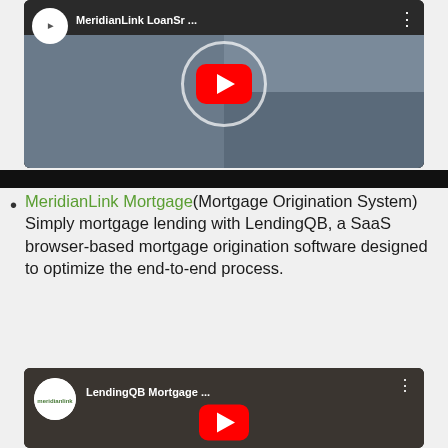[Figure (screenshot): YouTube video thumbnail for MeridianLink LoanSr... showing a tablet with loan origination software, a customer service agent with headset, and a person at an ATM. Red YouTube play button in center.]
MeridianLink Mortgage(Mortgage Origination System) Simply mortgage lending with LendingQB, a SaaS browser-based mortgage origination software designed to optimize the end-to-end process.
[Figure (screenshot): YouTube video thumbnail for LendingQB Mortgage... showing a woman looking at a screen and a person with raised fist. MeridianLink logo in top left. Red YouTube play button in center.]